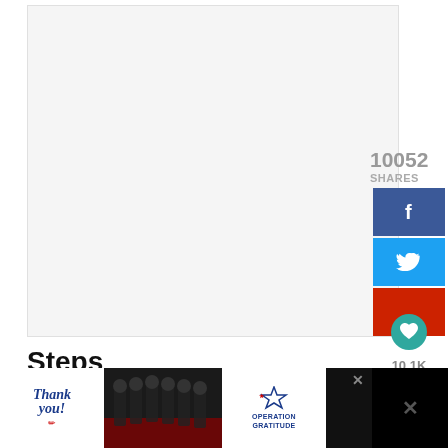[Figure (photo): Large white/blank image area placeholder for a photo or video]
10052
SHARES
[Figure (infographic): Social sharing sidebar with Facebook (blue), Twitter (cyan), heart/like (red) buttons, 10.1K like count, and a share icon circle]
Steps
[Figure (infographic): Advertisement bar at bottom: Thank you note with pencil illustration, firefighters photo, Operation Gratitude logo, close X button, and dark right panel with X]